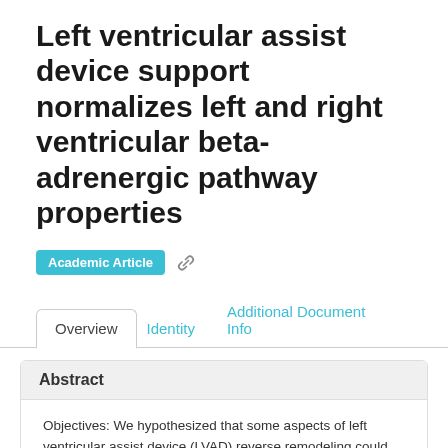Left ventricular assist device support normalizes left and right ventricular beta-adrenergic pathway properties
Academic Article
Overview | Identity | Additional Document Info
Abstract
Objectives: We hypothesized that some aspects of left ventricular assist device (LVAD) reverse remodeling could be independent of hemodynamic factors and would primarily depend upon normalization of neurohormonal milieu. Background: The relative contributions of LVAD-induced hemodynamic unloading (provided to the left ventricle [LV]) and normalized neurohormonal milieu (provided to both left and right